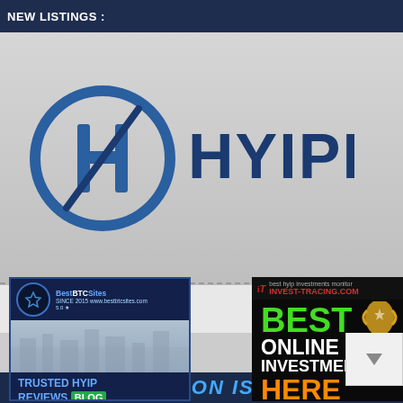NEW LISTINGS :
[Figure (logo): HYIPHUNT logo with circular H icon and bold HYIPHUNT text]
HOME    NEWS    ▲ 3 PAYO
ney Alway
[Figure (screenshot): BestBTCSites ad banner - TRUSTED HYIP REVIEWS BLOG]
[Figure (screenshot): Invest-Tracing.com ad - BEST ONLINE INVESTMENT HERE]
INNOVATION IS